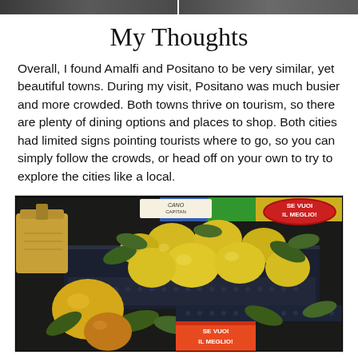[Figure (photo): Two cropped photographs at the top of the page showing coastal town scenes (Amalfi/Positano views), shown as dark image strips]
My Thoughts
Overall, I found Amalfi and Positano to be very similar, yet beautiful towns. During my visit, Positano was much busier and more crowded. Both towns thrive on tourism, so there are plenty of dining options and places to shop. Both cities had limited signs pointing tourists where to go, so you can simply follow the crowds, or head off on your own to try to explore the cities like a local.
[Figure (photo): A market photo showing large Amalfi lemons in baskets with green leaves, a handbag visible on the left, colorful signs in the background including red oval signs reading 'SE VUOI IL MEGLIO!']